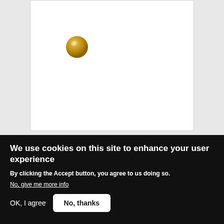[Figure (photo): A golden/brass colored circular ball or orb on a white background, positioned in the upper left of a white card panel]
POTATO RADIO
When a bored and lonely man's science project unexpectedly agitates his neighbor, he decides to use it to his advantage.
We use cookies on this site to enhance your user experience
By clicking the Accept button, you agree to us doing so.
No, give me more info
OK, I agree
No, thanks